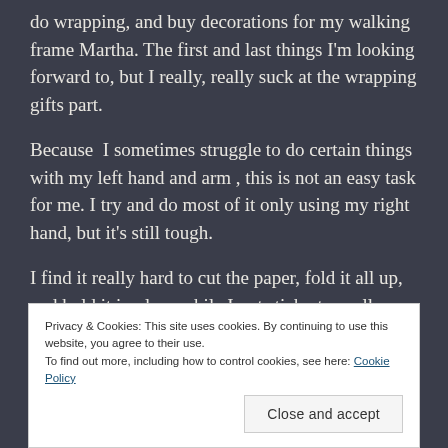do wrapping, and buy decorations for my walking frame Martha. The first and last things I'm looking forward to, but I really, really suck at the wrapping gifts part.
Because I sometimes struggle to do certain things with my left hand and arm , this is not an easy task for me. I try and do most of it only using my right hand, but it's still tough.
I find it really hard to cut the paper, fold it all up, and hold it in place while I put sticky tape all over
Privacy & Cookies: This site uses cookies. By continuing to use this website, you agree to their use.
To find out more, including how to control cookies, see here: Cookie Policy
Close and accept